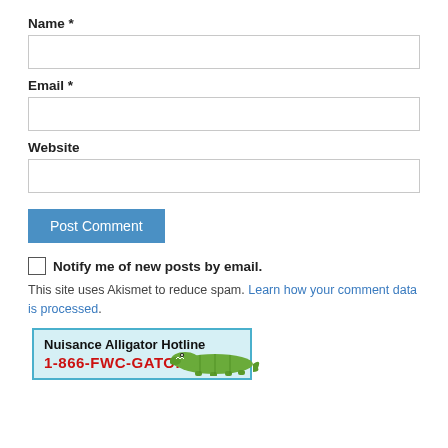Name *
[Figure (other): Empty text input field for Name]
Email *
[Figure (other): Empty text input field for Email]
Website
[Figure (other): Empty text input field for Website]
[Figure (other): Post Comment button (blue)]
Notify me of new posts by email.
This site uses Akismet to reduce spam. Learn how your comment data is processed.
[Figure (infographic): Nuisance Alligator Hotline banner with phone number 1-866-FWC-GATOR and alligator illustration]